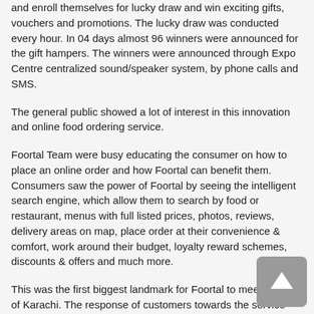and enroll themselves for lucky draw and win exciting gifts, vouchers and promotions. The lucky draw was conducted every hour. In 04 days almost 96 winners were announced for the gift hampers. The winners were announced through Expo Centre centralized sound/speaker system, by phone calls and SMS.
The general public showed a lot of interest in this innovation and online food ordering service.
Foortal Team were busy educating the consumer on how to place an online order and how Foortal can benefit them. Consumers saw the power of Foortal by seeing the intelligent search engine, which allow them to search by food or restaurant, menus with full listed prices, photos, reviews, delivery areas on map, place order at their convenience & comfort, work around their budget, loyalty reward schemes, discounts & offers and much more.
This was the first biggest landmark for Foortal to meet people of Karachi. The response of customers towards the service was incredible. The feedback and suggestion were addressed.
The event was covered by the media partner of Foortal radio